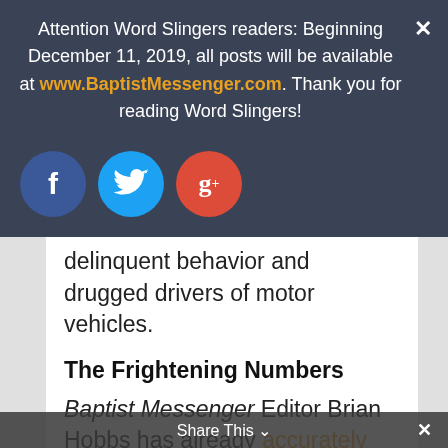Attention Word Slingers readers: Beginning December 11, 2019, all posts will be available at www.BaptistMessenger.com. Thank you for reading Word Slingers!
[Figure (illustration): Three social media icon buttons: Facebook (blue circle with f), Twitter (light blue circle with bird icon), Google+ (red circle with g+)]
delinquent behavior and drugged drivers of motor vehicles.
The Frightening Numbers
Baptist Messenger Editor Brian Hobbs has already accurately pointed out that Oklahoma has passed one